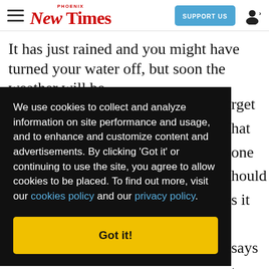Phoenix New Times | SUPPORT US
It has just rained and you might have turned your water off, but soon the weather will be
We use cookies to collect and analyze information on site performance and usage, and to enhance and customize content and advertisements. By clicking 'Got it' or continuing to use the site, you agree to allow cookies to be placed. To find out more, visit our cookies policy and our privacy policy.
Got it!
schedule.